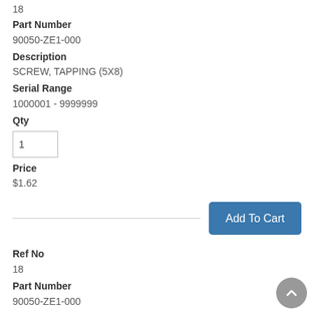18
Part Number
90050-ZE1-000
Description
SCREW, TAPPING (5X8)
Serial Range
1000001 - 9999999
Qty
1
Price
$1.62
Ref No
18
Part Number
90050-ZE1-000
Description
SCREW, TAPPING (5X8)
Serial Range